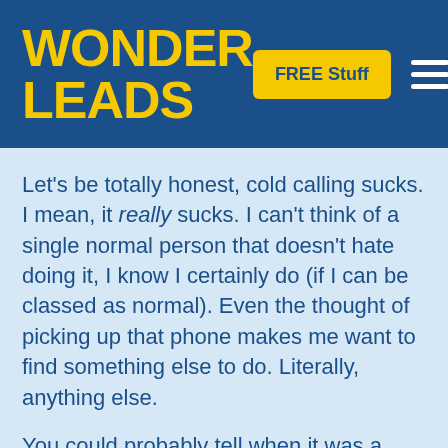WONDER LEADS
Let’s be totally honest, cold calling sucks. I mean, it really sucks. I can’t think of a single normal person that doesn’t hate doing it, I know I certainly do (if I can be classed as normal). Even the thought of picking up that phone makes me want to find something else to do. Literally, anything else.
You could probably tell when it was a cold calling day (back when we still used to believe it could work), because my desk would be immaculate.